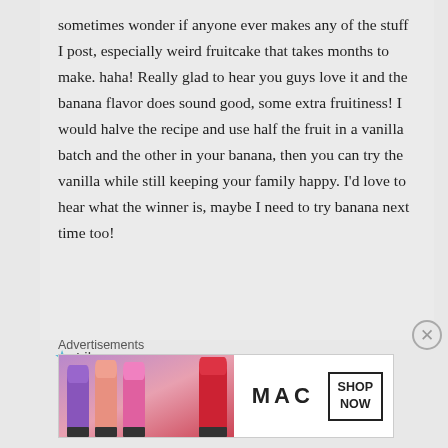sometimes wonder if anyone ever makes any of the stuff I post, especially weird fruitcake that takes months to make. haha! Really glad to hear you guys love it and the banana flavor does sound good, some extra fruitiness! I would halve the recipe and use half the fruit in a vanilla batch and the other in your banana, then you can try the vanilla while still keeping your family happy. I'd love to hear what the winner is, maybe I need to try banana next time too!
★ Like
Advertisements
[Figure (other): MAC cosmetics advertisement showing colorful lipsticks with MAC logo and SHOP NOW button]